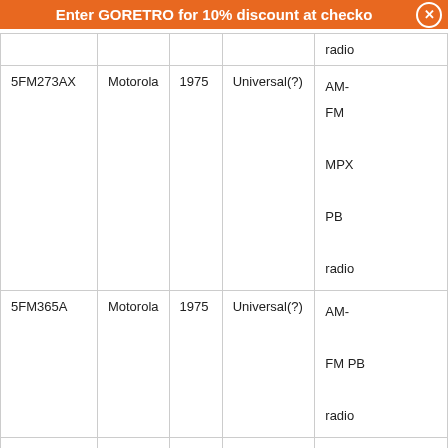Enter GORETRO for 10% discount at checkout
|  |  |  |  |  |
| --- | --- | --- | --- | --- |
|  |  |  |  | radio |
| 5FM273AX | Motorola | 1975 | Universal(?) | AM-
FM
MPX
PB
radio |
| 5FM365A | Motorola | 1975 | Universal(?) | AM-
FM PB
radio |
| 5FM485AX | Motorola | 1975 | Universal | AM-
FM
MPX
PB
radio |
| 5HA1141 | Motorola | 1975 | International | AM
... |